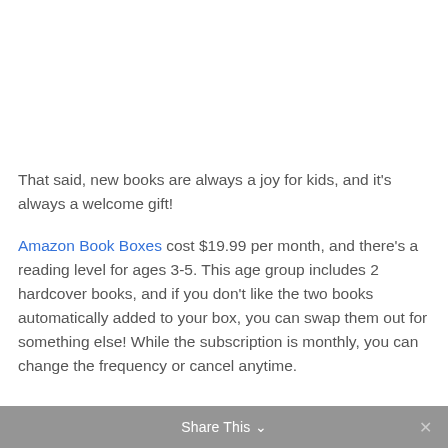That said, new books are always a joy for kids, and it's always a welcome gift!
Amazon Book Boxes cost $19.99 per month, and there's a reading level for ages 3-5. This age group includes 2 hardcover books, and if you don't like the two books automatically added to your box, you can swap them out for something else! While the subscription is monthly, you can change the frequency or cancel anytime.
Share This ×